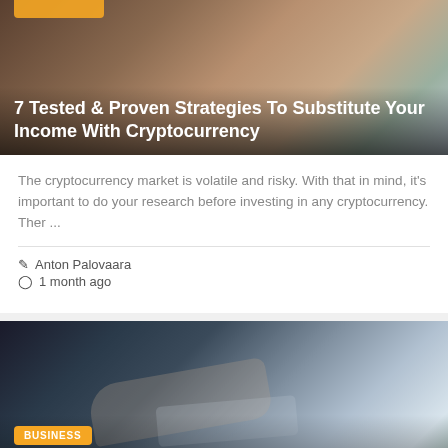[Figure (photo): Article thumbnail image for cryptocurrency article with partial orange badge and title overlay]
7 Tested & Proven Strategies To Substitute Your Income With Cryptocurrency
The cryptocurrency market is volatile and risky. With that in mind, it's important to do your research before investing in any cryptocurrency. Ther ...
Anton Palovaara
1 month ago
[Figure (photo): Business article thumbnail showing person in suit reviewing documents/charts with BUSINESS badge overlay]
Why Are Business Analysts Crucial To IT Efficiency?
You may not have realized that business analysts do much more than connect with prospective clients and manage the commercial side of things; they are ...